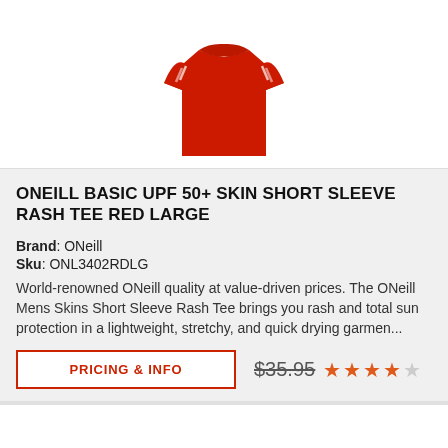[Figure (photo): Red ONeill UPF 50+ short sleeve rash tee shirt product photo on white background]
ONEILL BASIC UPF 50+ SKIN SHORT SLEEVE RASH TEE RED LARGE
Brand: ONeill
Sku: ONL3402RDLG
World-renowned ONeill quality at value-driven prices. The ONeill Mens Skins Short Sleeve Rash Tee brings you rash and total sun protection in a lightweight, stretchy, and quick drying garmen...
PRICING & INFO
$35.95